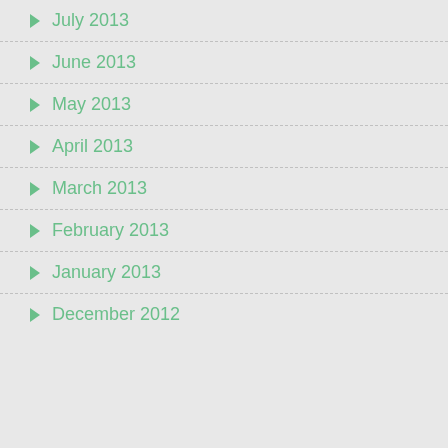July 2013
June 2013
May 2013
April 2013
March 2013
February 2013
January 2013
December 2012